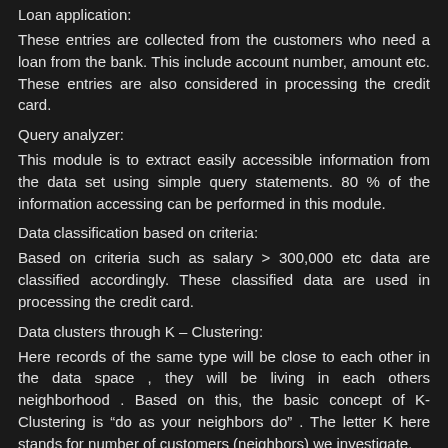Loan application:
These entries are collected from the customers who need a loan from the bank. This include account number, amount etc. These entries are also considered in processing the credit card.
Query analyzer:
This module is to extract easily accessible information from the data set using simple query statements. 80 % of the information accessing can be performed in this module.
Data classification based on criteria:
Based on criteria such as salary > 300,000 etc data are classified accordingly. These classified data are used in processing the credit card.
Data clusters through K – Clustering:
Here records of the same type will be close to each other in the data space , they will be living in each others neighborhood . Based on this, the basic concept of K-Clustering is “do as your neighbors do” . The letter K here stands for number of customers (neighbors) we investigate.
Data association through decision trees: